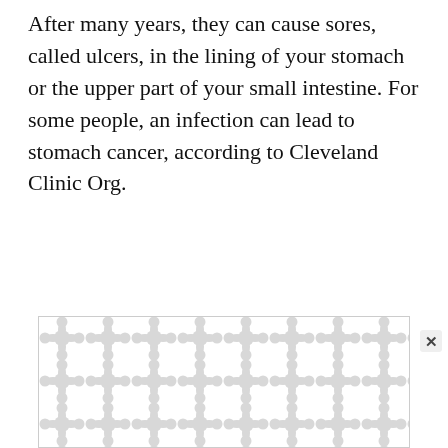After many years, they can cause sores, called ulcers, in the lining of your stomach or the upper part of your small intestine. For some people, an infection can lead to stomach cancer, according to Cleveland Clinic Org.
[Figure (other): Advertisement banner with decorative pattern of light gray circles and connecting shapes on white background]